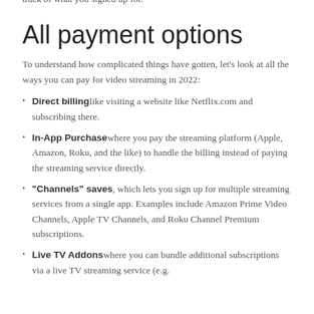looking to cut their TV spend. If you're not careful, it's easy to lose track of what you signed up for.
All payment options
To understand how complicated things have gotten, let's look at all the ways you can pay for video streaming in 2022:
Direct billing like visiting a website like Netflix.com and subscribing there.
In-App Purchase where you pay the streaming platform (Apple, Amazon, Roku, and the like) to handle the billing instead of paying the streaming service directly.
"Channels" saves, which lets you sign up for multiple streaming services from a single app. Examples include Amazon Prime Video Channels, Apple TV Channels, and Roku Channel Premium subscriptions.
Live TV Addons where you can bundle additional subscriptions via a live TV streaming service (e.g.